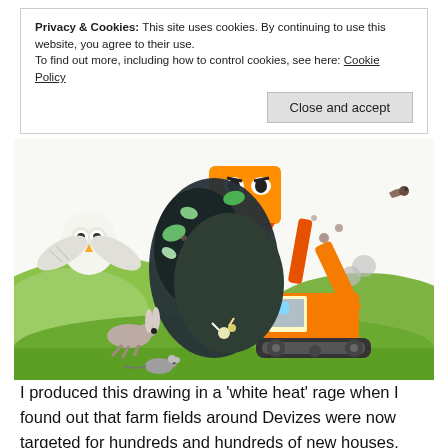Privacy & Cookies: This site uses cookies. By continuing to use this website, you agree to their use.
To find out more, including how to control cookies, see here: Cookie Policy
Close and accept
[Figure (illustration): Cartoon illustration of an orange excavator with an angry face on its bucket, uprooting a large dark tree/hedgerow. Animals flee: an owl flies away on the left, a rabbit runs, a mouse scurries. Green countryside hills in the background. Humorous editorial cartoon style about housing development destroying farmland.]
I produced this drawing in a 'white heat' rage when I found out that farm fields around Devizes were now targeted for hundreds and hundreds of new houses. The total figure as it stands at present is 800 new houses.